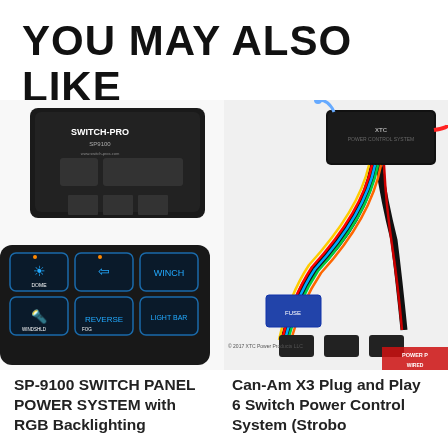YOU MAY ALSO LIKE
[Figure (photo): SP-9100 Switch Panel Power System with RGB backlighting — shows a black electronic switch panel module (SWITCH-PRO SP9100) and overlapping dark keypad with illuminated blue icons labeled DOME, FOG, WINDSHIELD, REVERSE, LIGHT BAR, and arrow symbols]
[Figure (photo): Can-Am X3 Plug and Play 6 Switch Power Control System — shows a black control module box with wiring harness including multi-colored wires; copyright 2017 XTC Power Products LLC; POWER WIRED logo visible]
SP-9100 SWITCH PANEL POWER SYSTEM with RGB Backlighting
Can-Am X3 Plug and Play 6 Switch Power Control System (Strobo